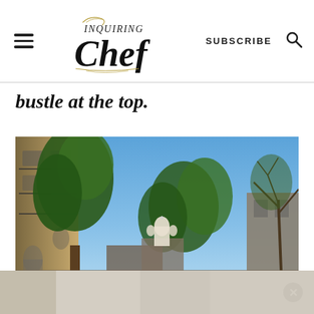Inquiring Chef — SUBSCRIBE
bustle at the top.
[Figure (photo): Street-level view looking up at a Parisian building with wrought-iron balconies and trees, blue sky, and the dome of Sacré-Cœur visible in the background center.]
[Figure (photo): Reflected/blurred lower portion of the same street photo, partially visible in an ad bar at the bottom.]